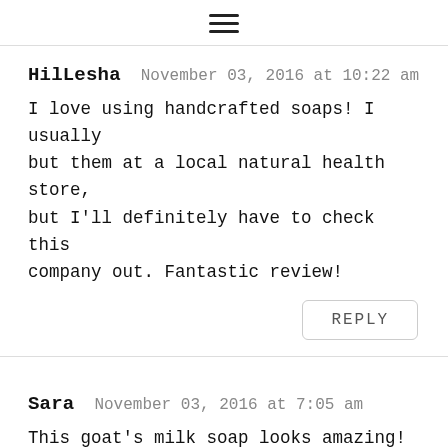≡
HilLesha   November 03, 2016 at 10:22 am
I love using handcrafted soaps! I usually but them at a local natural health store, but I'll definitely have to check this company out. Fantastic review!
REPLY
Sara   November 03, 2016 at 7:05 am
This goat's milk soap looks amazing! I love buying handmade soap. I am clicking to the